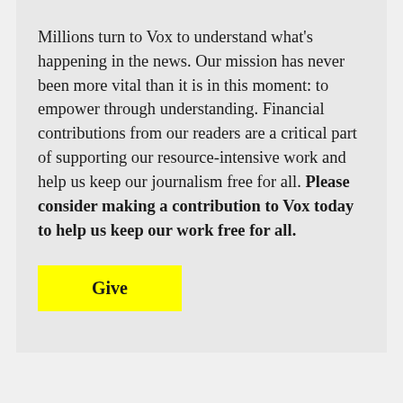Millions turn to Vox to understand what's happening in the news. Our mission has never been more vital than it is in this moment: to empower through understanding. Financial contributions from our readers are a critical part of supporting our resource-intensive work and help us keep our journalism free for all. Please consider making a contribution to Vox today to help us keep our work free for all.
Give